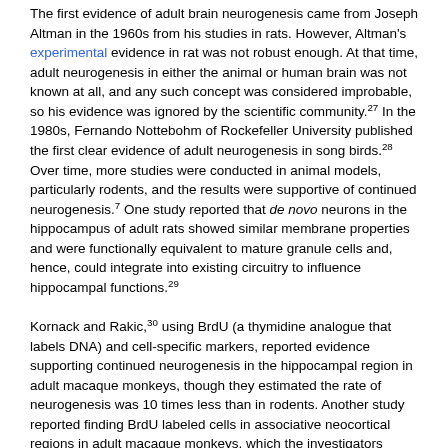The first evidence of adult brain neurogenesis came from Joseph Altman in the 1960s from his studies in rats. However, Altman's experimental evidence in rat was not robust enough. At that time, adult neurogenesis in either the animal or human brain was not known at all, and any such concept was considered improbable, so his evidence was ignored by the scientific community.27 In the 1980s, Fernando Nottebohm of Rockefeller University published the first clear evidence of adult neurogenesis in song birds.28 Over time, more studies were conducted in animal models, particularly rodents, and the results were supportive of continued neurogenesis.7 One study reported that de novo neurons in the hippocampus of adult rats showed similar membrane properties and were functionally equivalent to mature granule cells and, hence, could integrate into existing circuitry to influence hippocampal functions.29 Kornack and Rakic,30 using BrdU (a thymidine analogue that labels DNA) and cell-specific markers, reported evidence supporting continued neurogenesis in the hippocampal region in adult macaque monkeys, though they estimated the rate of neurogenesis was 10 times less than in rodents. Another study reported finding BrdU labeled cells in associative neocortical regions in adult macaque monkeys, which the investigators suggested provided evidence for newly formed neurons:31 however, the study was criticized